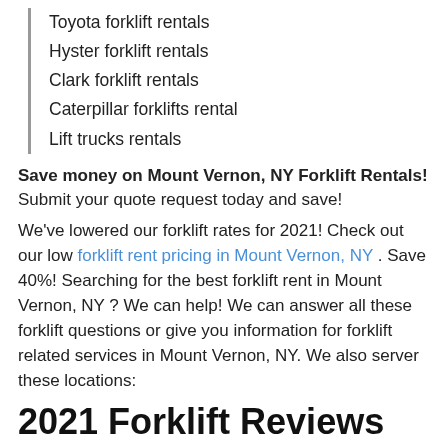Toyota forklift rentals
Hyster forklift rentals
Clark forklift rentals
Caterpillar forklifts rental
Lift trucks rentals
Save money on Mount Vernon, NY Forklift Rentals! Submit your quote request today and save!
We've lowered our forklift rates for 2021! Check out our low forklift rent pricing in Mount Vernon, NY . Save 40%! Searching for the best forklift rent in Mount Vernon, NY ? We can help! We can answer all these forklift questions or give you information for forklift related services in Mount Vernon, NY. We also server these locations:
2021 Forklift Reviews